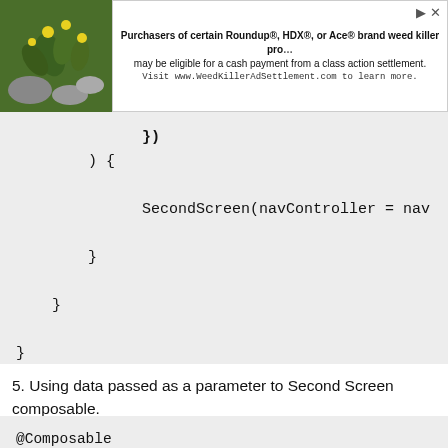[Figure (other): Advertisement banner with plant image on left and text about Roundup/HDX/Ace brand weed killer class action settlement, directing to www.WeedKillerAdSettlement.com]
[Figure (screenshot): Code block showing closing braces of a Kotlin/Compose navigation code snippet: }), ) {, SecondScreen(navController = nav, }, }, }]
5. Using data passed as a parameter to Second Screen composable.
[Figure (screenshot): Code block showing beginning of SecondScreen composable function: @Composable, fun SecondScreen(navController: NavControlle, Column(, modifier = Modifier.fillMaxSize(),]